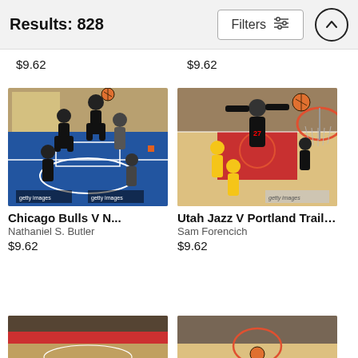Results: 828
$9.62
$9.62
[Figure (photo): Basketball game action photo: Chicago Bulls vs New York Knicks, players jumping near the basket]
Chicago Bulls V N...
Nathaniel S. Butler
$9.62
[Figure (photo): Basketball game action photo: Utah Jazz vs Portland Trail Blazers, player dunking with hoop visible overhead]
Utah Jazz V Portland Trail Blazers
Sam Forencich
$9.62
[Figure (photo): Partial basketball game photo (bottom, left) - cropped]
[Figure (photo): Partial basketball game photo (bottom, right) - cropped]